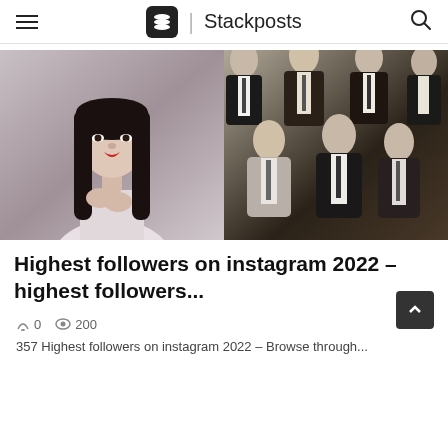Stackposts
[Figure (photo): Split image: left side shows a young Asian woman with long black hair and red lips in a white outfit; right side shows a K-pop boy group (7 members) in formal suits posing together]
Highest followers on instagram 2022 – highest followers...
0   200
357 Highest followers on instagram 2022 – Browse through...